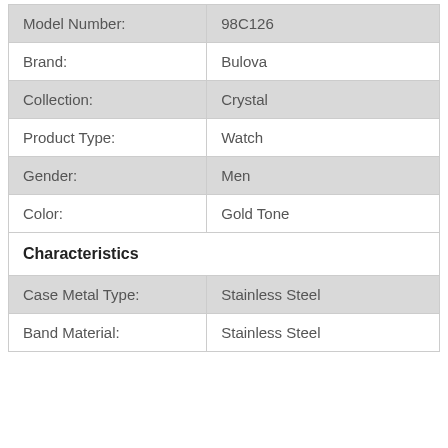| Attribute | Value |
| --- | --- |
| Model Number: | 98C126 |
| Brand: | Bulova |
| Collection: | Crystal |
| Product Type: | Watch |
| Gender: | Men |
| Color: | Gold Tone |
| Characteristics |  |
| Case Metal Type: | Stainless Steel |
| Band Material: | Stainless Steel |